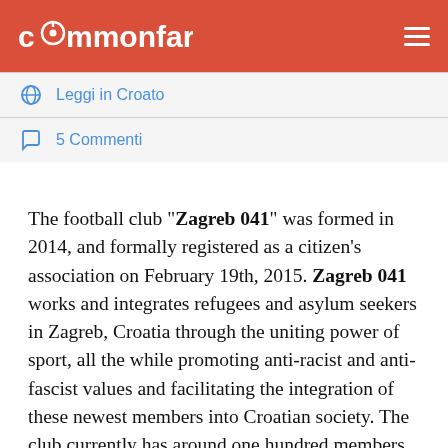commonfare
Leggi in Croato
5 Commenti
The football club "Zagreb 041" was formed in 2014, and formally registered as a citizen's association on February 19th, 2015. Zagreb 041 works and integrates refugees and asylum seekers in Zagreb, Croatia through the uniting power of sport, all the while promoting anti-racist and anti-fascist values and facilitating the integration of these newest members into Croatian society. The club currently has around one hundred members, who are organized in a non-hierarchical, horizontal manner and who participate equally in decision-making and the club's activities. The club has a senior men's team, a senior women's team, as well as a children's team. Players are a combination of Croatian